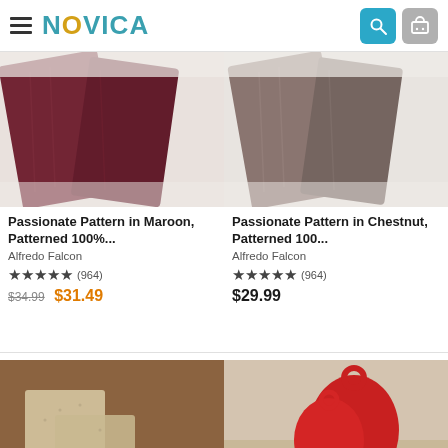NOVICA
[Figure (photo): Dark maroon patterned knit scarves on white background]
Passionate Pattern in Maroon, Patterned 100%...
Alfredo Falcon
★★★★★ (964)
$34.99  $31.49
[Figure (photo): Chestnut/grey patterned knit scarves on white background]
Passionate Pattern in Chestnut, Patterned 100...
Alfredo Falcon
★★★★★ (964)
$29.99
[Figure (photo): Cream/beige patterned knit items on brown wooden background]
[Figure (photo): Red oven mitt/kitchen item on light wood background]